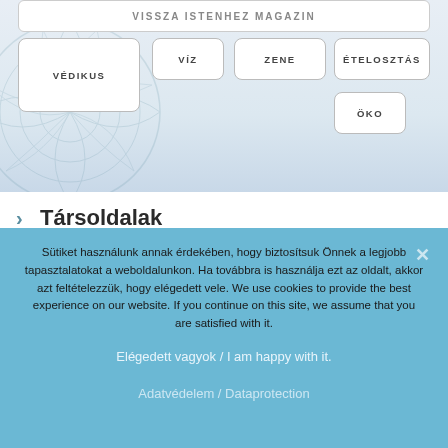[Figure (screenshot): Top navigation area with decorative mandala watermark and button tags: VISSZA ISTENHEZ MAGAZIN (top bar, cut off), VÉDIKUS, VÍZ, ZENE, ÉTELOSZTÁS, ÖKO]
Társoldalak
Sütiket használunk annak érdekében, hogy biztosítsuk Önnek a legjobb tapasztalatokat a weboldalunkon. Ha továbbra is használja ezt az oldalt, akkor azt feltételezzük, hogy elégedett vele. We use cookies to provide the best experience on our website. If you continue on this site, we assume that you are satisfied with it.
Elégedett vagyok / I am happy with it.
Adatvédelem / Dataprotection